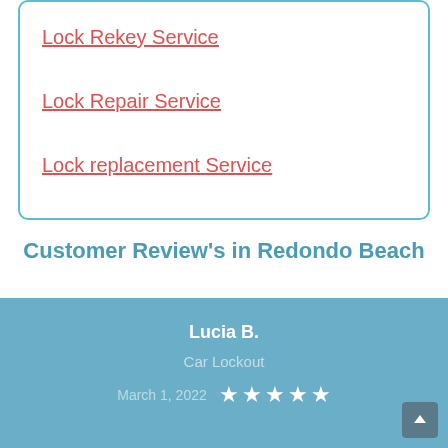Lock Rekey Service
Lock Repair Service
Lock replacement Service
Customer Review's in Redondo Beach
Lucia B.
Car Lockout
March 1, 2022  ★★★★★